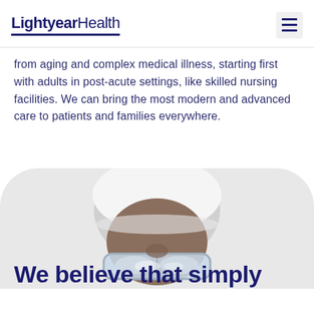Lightyear Health
from aging and complex medical illness, starting first with adults in post-acute settings, like skilled nursing facilities. We can bring the most modern and advanced care to patients and families everywhere.
[Figure (photo): Close-up photo of a medical professional wearing a white surgical cap and goggles/glasses, shown from the nose up against a light gray background, set within a rounded rectangle container.]
We believe that simply